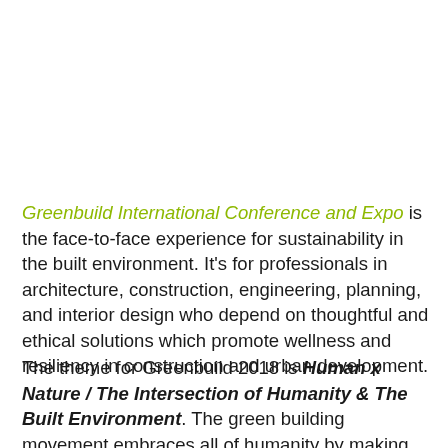Greenbuild International Conference and Expo is the face-to-face experience for sustainability in the built environment. It's for professionals in architecture, construction, engineering, planning, and interior design who depend on thoughtful and ethical solutions which promote wellness and resiliency in construction and urban development.
The theme for Greenbuild 2018 is Human x Nature / The Intersection of Humanity & The Built Environment. The green building movement embraces all of humanity by making sustainable buildings and